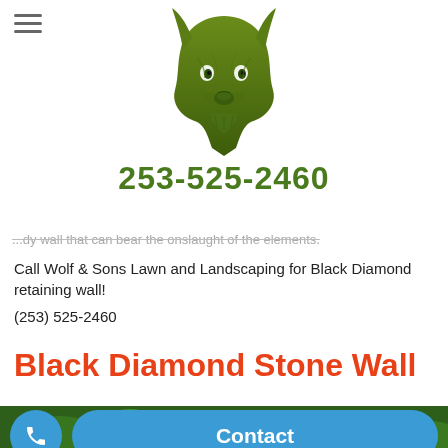[Figure (logo): Green wolf head logo for Wolf & Sons Lawn and Landscaping]
253-525-2460
...dy wall that can bear the onslaught of the elements.
Call Wolf & Sons Lawn and Landscaping for Black Diamond retaining wall!
(253) 525-2460
Black Diamond Stone Wall
[Figure (photo): Green forest/garden vegetation photo background]
Contact